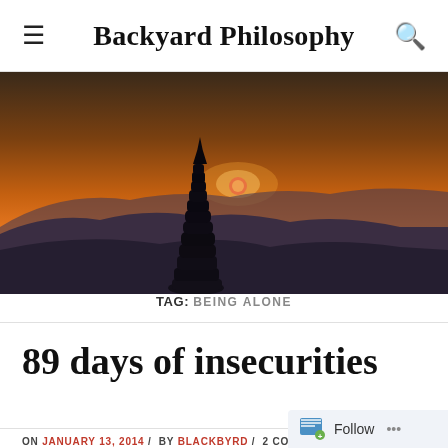Backyard Philosophy
[Figure (photo): Sunset over mountain silhouettes with a stacked rock cairn in the foreground. Sky transitions from orange to amber near the horizon with a visible sun disc setting behind distant ridge lines.]
TAG: BEING ALONE
89 days of insecurities
ON JANUARY 13, 2014 / BY BLACKBYRD / 2 COMMENTS